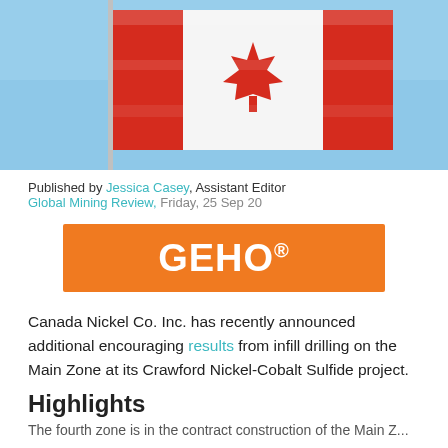[Figure (photo): Canadian flag waving against a blue sky, mounted on a flagpole.]
Published by Jessica Casey, Assistant Editor
Global Mining Review, Friday, 25 Sep 20
[Figure (logo): GEHO® orange banner advertisement logo]
Canada Nickel Co. Inc. has recently announced additional encouraging results from infill drilling on the Main Zone at its Crawford Nickel-Cobalt Sulfide project.
Highlights
The fourth zone is in the contract construction of the Main Z...